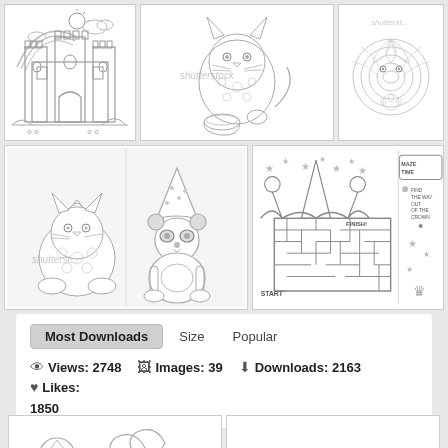[Figure (illustration): Grid of coloring book style illustrations: top row shows a castle with rainbow, a cat with a pot, and a squirrel/hedgehog; middle row shows a kitten, a panda in a hat, and a crown maze puzzle. Shutterstock watermarks visible.]
Most Downloads   Size   Popular
Views: 2748   Images: 39   Downloads: 2163   Likes: 1850
[Figure (illustration): Bottom partial previews: left shows a sports/nature coloring page, right shows 'Princess Crown' text logo.]